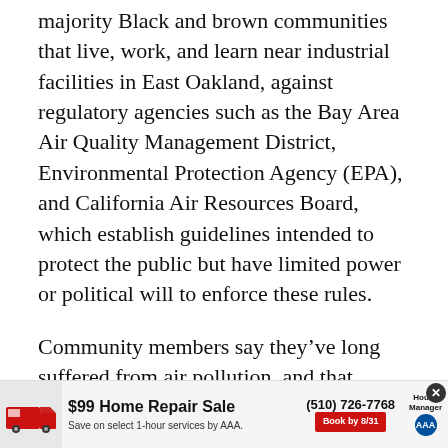majority Black and brown communities that live, work, and learn near industrial facilities in East Oakland, against regulatory agencies such as the Bay Area Air Quality Management District, Environmental Protection Agency (EPA), and California Air Resources Board, which establish guidelines intended to protect the public but have limited power or political will to enforce these rules.
Community members say they’ve long suffered from air pollution, and that businesses haven’t accepted responsibility. They also feel that government regulators haven’t been effective
[Figure (other): Advertisement banner: AAA $99 Home Repair Sale with truck image, phone number (510) 726-7768, save on select 1-hour services by AAA, Book by 8/31, House Manager branding]